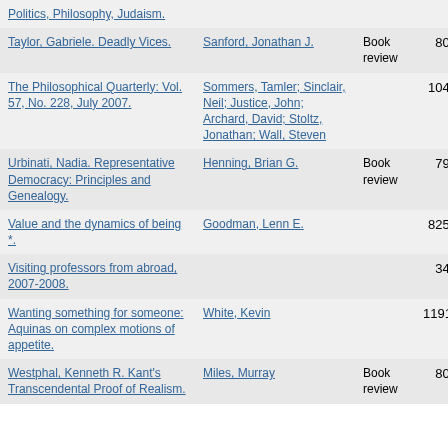| Title | Author | Type | ID |
| --- | --- | --- | --- |
| Politics, Philosophy, Judaism. |  |  |  |
| Taylor, Gabriele. Deadly Vices. | Sanford, Jonathan J. | Book review | 806 |
| The Philosophical Quarterly: Vol. 57, No. 228, July 2007. | Sommers, Tamler; Sinclair, Neil; Justice, John; Archard, David; Stoltz, Jonathan; Wall, Steven |  | 1041 |
| Urbinati, Nadia. Representative Democracy: Principles and Genealogy. | Henning, Brian G. | Book review | 797 |
| Value and the dynamics of being *. | Goodman, Lenn E. |  | 8254 |
| Visiting professors from abroad, 2007-2008. |  |  | 344 |
| Wanting something for someone: Aquinas on complex motions of appetite. | White, Kevin |  | 11919 |
| Westphal, Kenneth R. Kant's Transcendental Proof of Realism. | Miles, Murray | Book review | 806 |